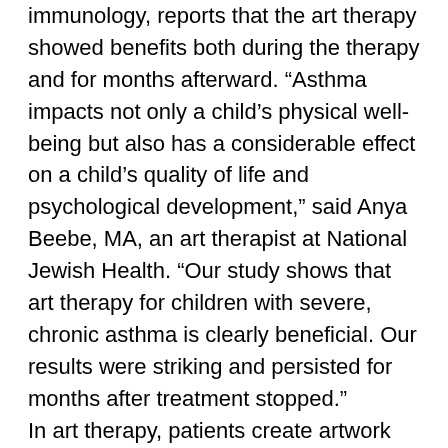immunology, reports that the art therapy showed benefits both during the therapy and for months afterward. “Asthma impacts not only a child’s physical well-being but also has a considerable effect on a child’s quality of life and psychological development,” said Anya Beebe, MA, an art therapist at National Jewish Health. “Our study shows that art therapy for children with severe, chronic asthma is clearly beneficial. Our results were striking and persisted for months after treatment stopped.”
In art therapy, patients create artwork that helps express their feelings about an illness, a trauma or medical concerns. The artwork can then serve as a starting point for discussions about these issues. Researchers believe that creating art helps participants establish distance between themselves and their medical concerns. They learn to understand that they have a personal identity outside of their illness. It is believed to be particularly